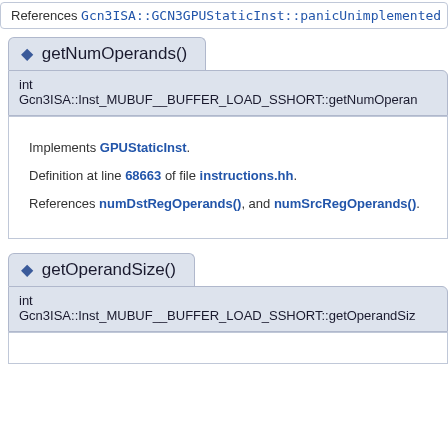References Gcn3ISA::GCN3GPUStaticInst::panicUnimplemented
◆ getNumOperands()
int Gcn3ISA::Inst_MUBUF__BUFFER_LOAD_SSHORT::getNumOperan
Implements GPUStaticInst. Definition at line 68663 of file instructions.hh. References numDstRegOperands(), and numSrcRegOperands().
◆ getOperandSize()
int Gcn3ISA::Inst_MUBUF__BUFFER_LOAD_SSHORT::getOperandSiz